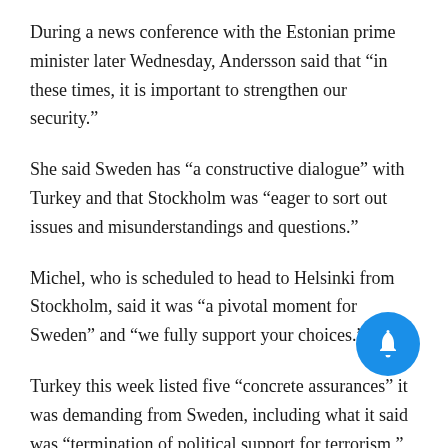During a news conference with the Estonian prime minister later Wednesday, Andersson said that “in these times, it is important to strengthen our security.”
She said Sweden has “a constructive dialogue” with Turkey and that Stockholm was “eager to sort out issues and misunderstandings and questions.”
Michel, who is scheduled to head to Helsinki from Stockholm, said it was “a pivotal moment for Sweden” and “we fully support your choices.”
Turkey this week listed five “concrete assurances” it was demanding from Sweden, including what it said was “termination of political support for terrorism,” an “elimination of the source of terrorism financing,” and the “cessation of arms support” to the banned PKK and a Syrian Kurdish militia